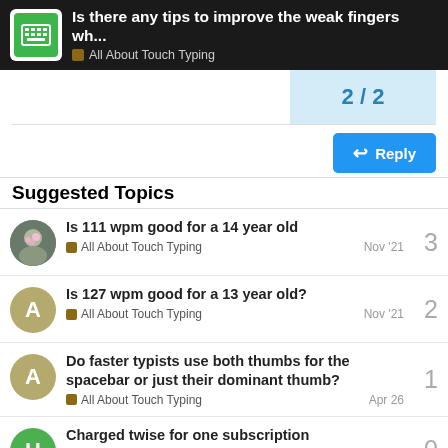Is there any tips to improve the weak fingers wh... | All About Touch Typing
2 / 2
Reply
Suggested Topics
Is 111 wpm good for a 14 year old | All About Touch Typing | Nov '21 | 3
Is 127 wpm good for a 13 year old? | All About Touch Typing | Nov '21 | 2
Do faster typists use both thumbs for the spacebar or just their dominant thumb? | All About Touch Typing | Apr 26 | 1
Charged twise for one subscription | 0